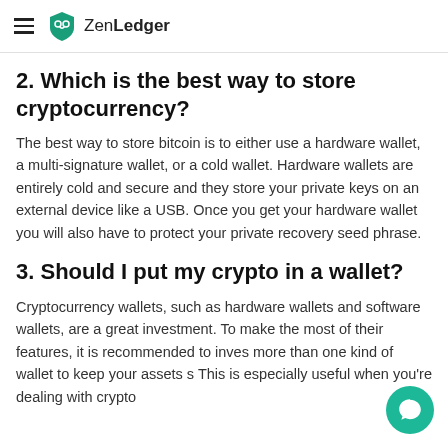ZenLedger
2. Which is the best way to store cryptocurrency?
The best way to store bitcoin is to either use a hardware wallet, a multi-signature wallet, or a cold wallet. Hardware wallets are entirely cold and secure and they store your private keys on an external device like a USB. Once you get your hardware wallet you will also have to protect your private recovery seed phrase.
3. Should I put my crypto in a wallet?
Cryptocurrency wallets, such as hardware wallets and software wallets, are a great investment. To make the most of their features, it is recommended to inves more than one kind of wallet to keep your assets s This is especially useful when you're dealing with crypto